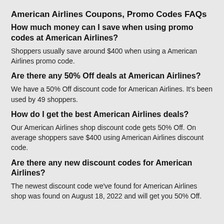American Airlines Coupons, Promo Codes FAQs
How much money can I save when using promo codes at American Airlines?
Shoppers usually save around $400 when using a American Airlines promo code.
Are there any 50% Off deals at American Airlines?
We have a 50% Off discount code for American Airlines. It's been used by 49 shoppers.
How do I get the best American Airlines deals?
Our American Airlines shop discount code gets 50% Off. On average shoppers save $400 using American Airlines discount code.
Are there any new discount codes for American Airlines?
The newest discount code we've found for American Airlines shop was found on August 18, 2022 and will get you 50% Off.